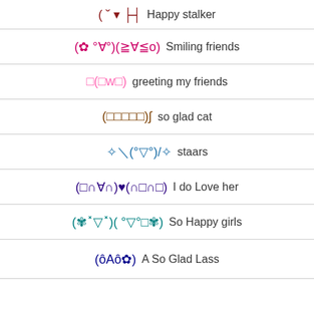( ˘ ▾ ├┤  Happy stalker
(✿ °∀°)(≧∀≦o)  Smiling friends
□(□w□)  greeting my friends
(□□□□□)∫  so glad cat
✧＼(°▽°)/✧  staars
(□∩∀∩)♥(∩□∩□)  I do Love her
(✾˟▽˟)( °▽°□✾)  So Happy girls
(ôΑô✿)  A So Glad Lass